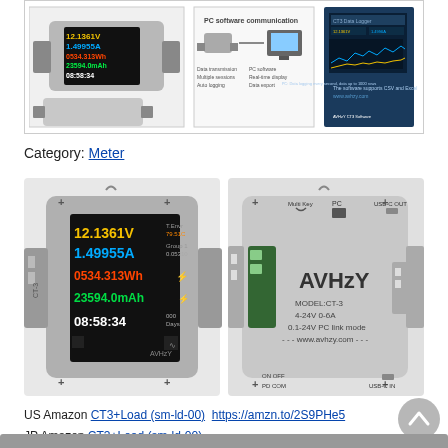[Figure (photo): Top strip showing product images: AVHzY CT3 USB meter device with colorful display, PC software communication diagram, and software screenshot]
Category: Meter
[Figure (photo): Two product photos side by side: Left shows CT3 USB meter front with colorful LCD display showing 12.1361V, 1.49955A, 0534.313Wh, 23594.0mAh, 08:58:34. Right shows back/side of AVHzY CT3 device with USB ports and labels.]
US Amazon CT3+Load (sm-ld-00)  https://amzn.to/2S9PHe5
JP Amazon CT3+Load (sm-ld-00)